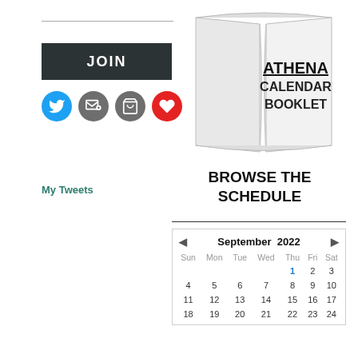[Figure (other): JOIN button (dark background, white bold text)]
[Figure (other): Row of four social/action icon circles: Twitter (blue bird), email subscribe (grey), cart (grey), heart (red)]
[Figure (illustration): Athena Calendar Booklet logo/graphic — open booklet shape with text ATHENA CALENDAR BOOKLET in bold]
My Tweets
BROWSE THE SCHEDULE
| Sun | Mon | Tue | Wed | Thu | Fri | Sat |
| --- | --- | --- | --- | --- | --- | --- |
|  |  |  |  | 1 | 2 | 3 |
| 4 | 5 | 6 | 7 | 8 | 9 | 10 |
| 11 | 12 | 13 | 14 | 15 | 16 | 17 |
| 18 | 19 | 20 | 21 | 22 | 23 | 24 |